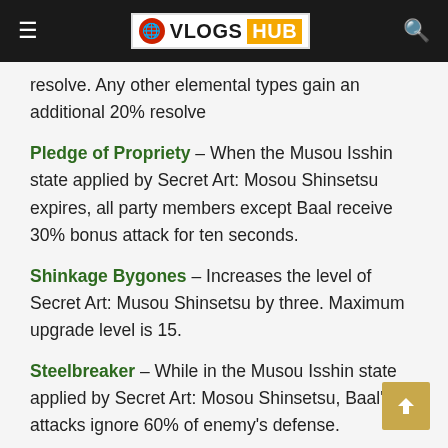VLOGS HUB
resolve. Any other elemental types gain an additional 20% resolve
Pledge of Propriety – When the Musou Isshin state applied by Secret Art: Mosou Shinsetsu expires, all party members except Baal receive 30% bonus attack for ten seconds.
Shinkage Bygones – Increases the level of Secret Art: Musou Shinsetsu by three. Maximum upgrade level is 15.
Steelbreaker – While in the Musou Isshin state applied by Secret Art: Mosou Shinsetsu, Baal's attacks ignore 60% of enemy's defense.
Shogun's Descent – Increases the level of Transcendence: Baleful Light by three. Maximum upgrade level is 15.